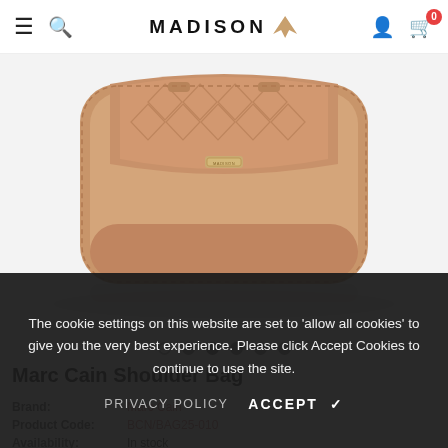MADISON (logo with decorative wing) — hamburger menu, search icon, account icon, cart (0)
[Figure (photo): A tan/camel quilted leather Madison shoulder bag on a white background. The bag has a curved flap with diamond-stitch quilting and a small branded clasp.]
Carousel navigation dots (1 empty, 5 filled)
Marc Cain Shoulder Bag
Brand: Marc Cain
Product Code: BCN/BAG25-010
Availability: In stock
Product Type:
The cookie settings on this website are set to 'allow all cookies' to give you the very best experience. Please click Accept Cookies to continue to use the site.
PRIVACY POLICY   ACCEPT ✔